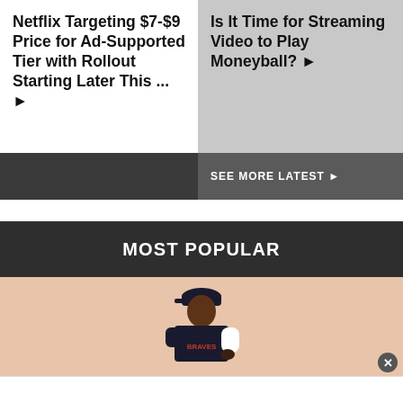Netflix Targeting $7-$9 Price for Ad-Supported Tier with Rollout Starting Later This ... ▶
Is It Time for Streaming Video to Play Moneyball? ▶
SEE MORE LATEST ▶
MOST POPULAR
[Figure (photo): Baseball player in dark uniform on a light tan/peach background, partially visible from waist up, wearing a cap and arm sleeve.]